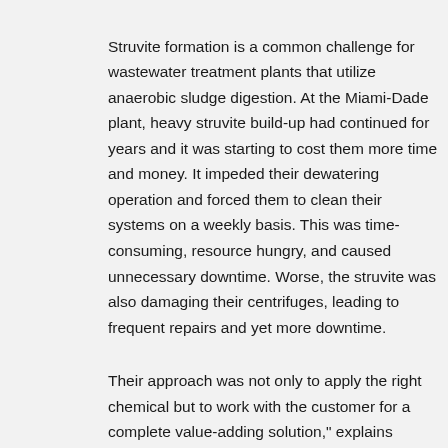Struvite formation is a common challenge for wastewater treatment plants that utilize anaerobic sludge digestion. At the Miami-Dade plant, heavy struvite build-up had continued for years and it was starting to cost them more time and money. It impeded their dewatering operation and forced them to clean their systems on a weekly basis. This was time-consuming, resource hungry, and caused unnecessary downtime. Worse, the struvite was also damaging their centrifuges, leading to frequent repairs and yet more downtime.
Their approach was not only to apply the right chemical but to work with the customer for a complete value-adding solution," explains Tafadzwa "Tee" Mariga, Application Manager at Kemira. Kemira's team